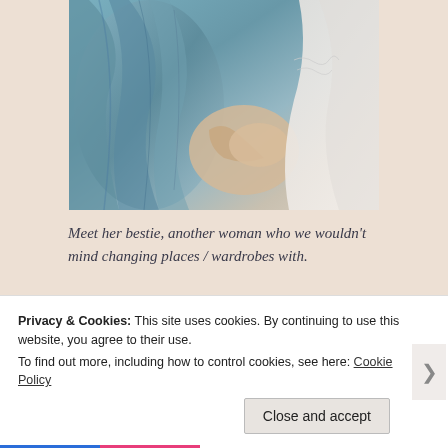[Figure (photo): Close-up photo of two women in elegant blue-grey gowns, hands intertwined, showing detailed fabric and lace.]
Meet her bestie, another woman who we wouldn't mind changing places / wardrobes with.
[Figure (photo): Partially visible next image strip below the divider line.]
Privacy & Cookies: This site uses cookies. By continuing to use this website, you agree to their use.
To find out more, including how to control cookies, see here: Cookie Policy
Close and accept